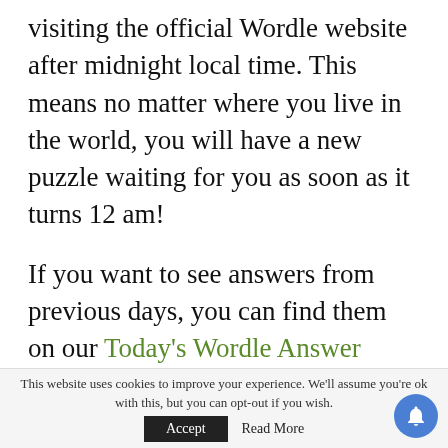visiting the official Wordle website after midnight local time. This means no matter where you live in the world, you will have a new puzzle waiting for you as soon as it turns 12 am!
If you want to see answers from previous days, you can find them on our Today's Wordle Answer post!
We've got all of the information you need on what the word is for this recent puzzle and the definition of the word if it was giving you any
This website uses cookies to improve your experience. We'll assume you're ok with this, but you can opt-out if you wish. Accept Read More